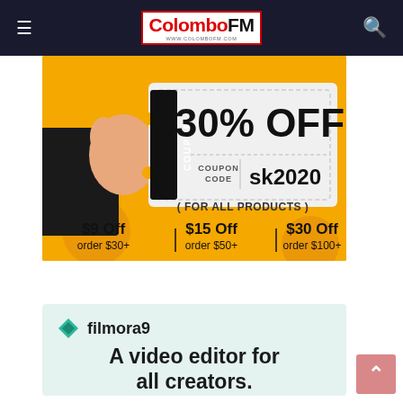ColomboFM
[Figure (infographic): Coupon discount banner on yellow background. Shows 30% OFF with coupon code sk2020, for all products. $9 Off order $30+, $15 Off order $50+, $30 Off order $100+. Hand holding a coupon ticket.]
[Figure (infographic): Filmora9 advertisement on light teal background. Logo with teal diamond shape. Text: filmora9. A video editor for all creators.]